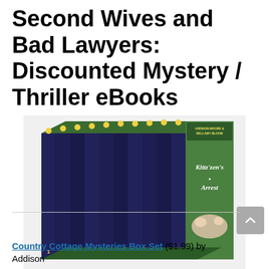Second Wives and Bad Lawyers: Discounted Mystery / Thriller eBooks
[Figure (photo): A box set of 10 books titled 'Country Cottage Mysteries' with 'Kittizen's Arrest' visible on the front cover, featuring a cat and garden imagery. Authors: Addison Moore & Bellamy Bloom.]
Country Cottage Mysteries Box Set ($1.99) by Addison